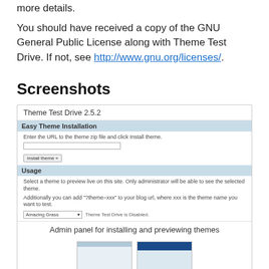more details.
You should have received a copy of the GNU General Public License along with Theme Test Drive. If not, see http://www.gnu.org/licenses/.
Screenshots
[Figure (screenshot): Admin panel for installing and previewing themes — shows Theme Test Drive 2.5.2 plugin interface with Easy Theme Installation section (URL input, Install theme button) and Usage section (theme selector dropdown showing Amazing Grass, Theme Test Drive is Disabled label). Caption reads: Admin panel for installing and previewing themes. Two thumbnail screenshots shown below.]